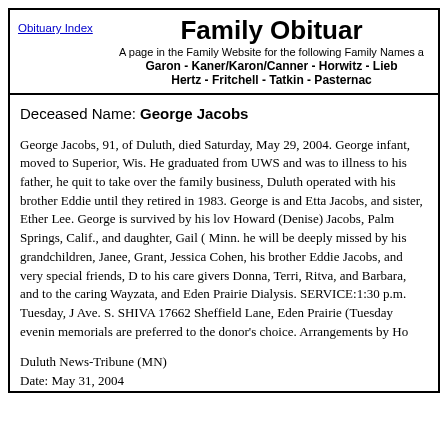Obituary Index | Family Obituaries — A page in the Family Website for the following Family Names: Garon - Kaner/Karon/Canner - Horwitz - Lieb... Hertz - Fritchell - Tatkin - Pasternac...
Deceased Name: George Jacobs
George Jacobs, 91, of Duluth, died Saturday, May 29, 2004. George... infant, moved to Superior, Wis. He graduated from UWS and was to... illness to his father, he quit to take over the family business, Duluth... operated with his brother Eddie until they retired in 1983. George is... and Etta Jacobs, and sister, Ether Lee. George is survived by his lov... Howard (Denise) Jacobs, Palm Springs, Calif., and daughter, Gail (... Minn. he will be deeply missed by his grandchildren, Janee, Grant,... Jessica Cohen, his brother Eddie Jacobs, and very special friends, D... to his care givers Donna, Terri, Ritva, and Barbara, and to the carin... Wayzata, and Eden Prairie Dialysis. SERVICE:1:30 p.m. Tuesday,... Ave. S. SHIVA 17662 Sheffield Lane, Eden Prairie (Tuesday evenin... memorials are preferred to the donor's choice. Arrangements by Ho...
Duluth News-Tribune (MN)
Date: May 31, 2004